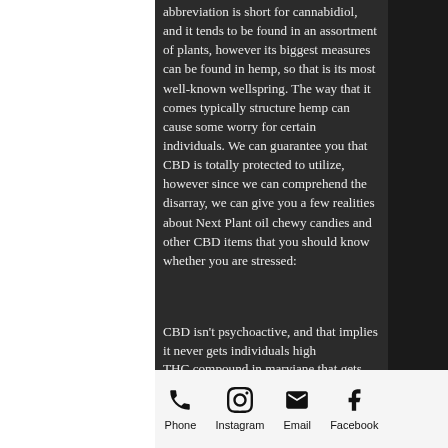abbreviation is short for cannabidiol, and it tends to be found in an assortment of plants, however its biggest measures can be found in hemp, so that is its most well-known wellspring. The way that it comes typically structure hemp can cause some worry for certain individuals. We can guarantee you that CBD is totally protected to utilize, however since we can comprehend the disarray, we can give you a few realities about Next Plant oil chewy candies and other CBD items that you should know whether you are stressed:
CBD isn't psychoactive, and that implies it never gets individuals high
THC compound in maryjane that gets individuals high is called THC
Hemp and weed are in a similar plant family, however they are synthetically unique
Phone  Instagram  Email  Facebook